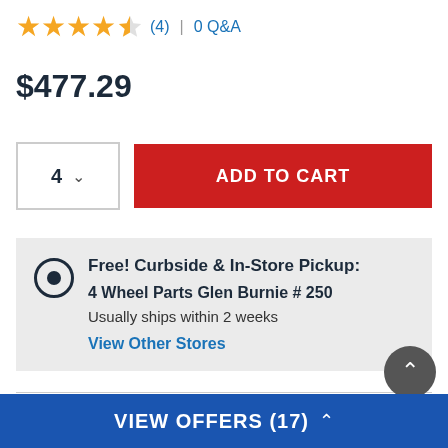4.5 stars (4) | 0 Q&A
$477.29
4  ADD TO CART
Free! Curbside & In-Store Pickup:
4 Wheel Parts Glen Burnie #250
Usually ships within 2 weeks
View Other Stores
Ship to Home
Ready To Ship
VIEW OFFERS (17)